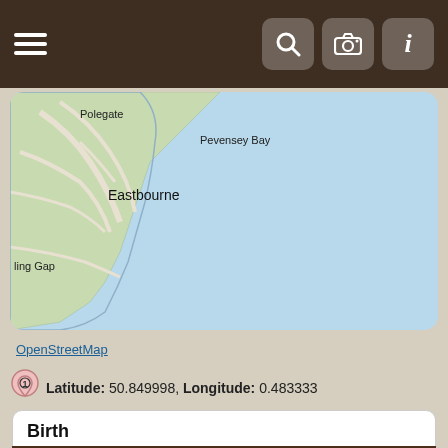Navigation bar with hamburger menu and icons (search, camera, info)
[Figure (map): Map showing coastal area near Eastbourne, UK. Shows Polegate, Pevensey Bay, Eastbourne, and Birling Gap labels. Green land area on left, blue sea on right.]
OpenStreetMap
Latitude: 50.849998, Longitude: 0.483333
Birth
Matches 1 to 43 of 43
|  | Last Name, Given Name(s) | Birth | Person ID |
| --- | --- | --- | --- |